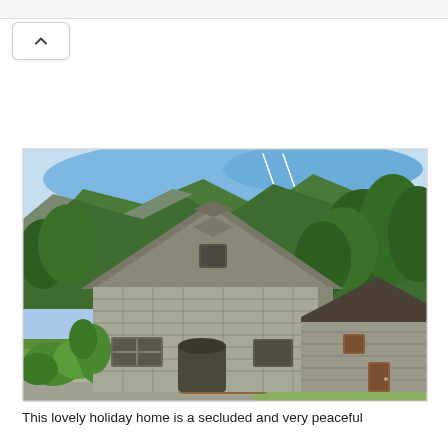[Figure (photo): Photograph of two rustic stone buildings with triangular gabled roofs set against a forested mountain backdrop with a blue sky. The larger building in the foreground has a steeply pitched stone roof and multiple window openings in the stone walls. A smaller stone building with a darker roof stands to the right. Lush green vegetation and trees surround the structures.]
This lovely holiday home is a secluded and very peaceful